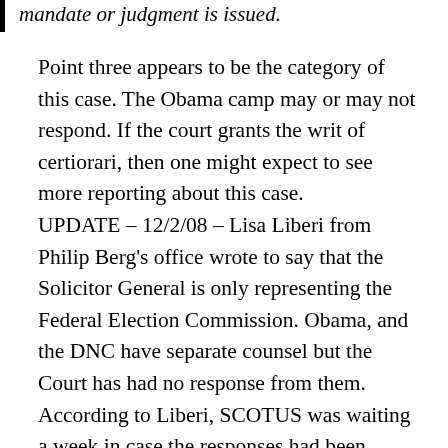mandate or judgment is issued.
Point three appears to be the category of this case. The Obama camp may or may not respond. If the court grants the writ of certiorari, then one might expect to see more reporting about this case. UPDATE – 12/2/08 – Lisa Liberi from Philip Berg's office wrote to say that the Solicitor General is only representing the Federal Election Commission. Obama, and the DNC have separate counsel but the Court has had no response from them. According to Liberi, SCOTUS was waiting a week in case the responses had been mailed. A conference date with the full Court regarding the certiorari petition will be scheduled after the week